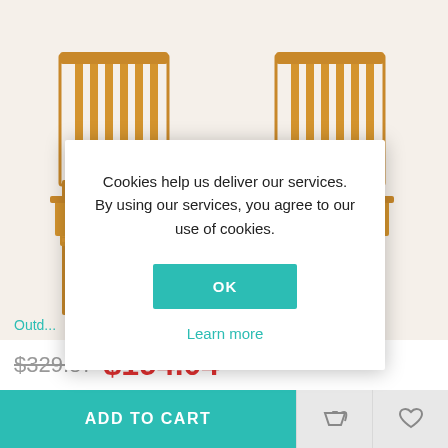[Figure (photo): Two wooden outdoor chairs with armrests connected by a small table in the middle, made of light natural wood (acacia). Photographed on a white background.]
Cookies help us deliver our services. By using our services, you agree to our use of cookies.
OK
Learn more
Outd...
$329.87  $194.04
ADD TO CART